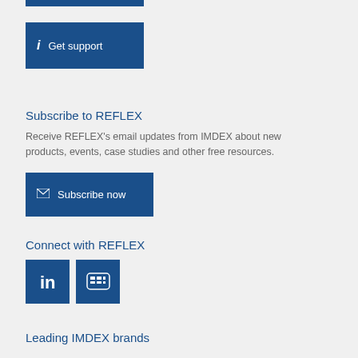[Figure (screenshot): Blue 'Get support' button with italic i icon on dark blue background]
Subscribe to REFLEX
Receive REFLEX's email updates from IMDEX about new products, events, case studies and other free resources.
[Figure (screenshot): Dark blue 'Subscribe now' button with envelope icon]
Connect with REFLEX
[Figure (screenshot): LinkedIn and YouTube social media icon buttons in dark blue]
Leading IMDEX brands